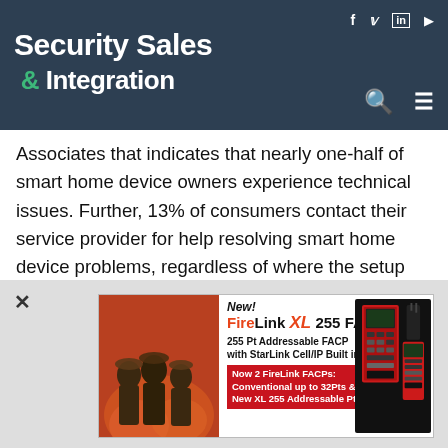Security Sales & Integration
Associates that indicates that nearly one-half of smart home device owners experience technical issues. Further, 13% of consumers contact their service provider for help resolving smart home device problems, regardless of where the setup problems arise."
[Figure (photo): Partial logo/branding image with blue hexagonal background pattern and blue text reading 'DIH SHI' or similar, partially cropped]
[Figure (infographic): Advertisement for FireLink XL 255 FACP - 255 Pt Addressable FACP with StarLink Cell/IP Built in. Now 2 FireLink FACPs: Conventional up to 32Pts & New XL 255 Addressable Pts. Features image of firefighters on left and product image on right.]